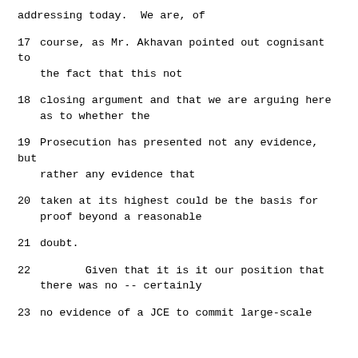addressing today.  We are, of
17    course, as Mr. Akhavan pointed out cognisant to the fact that this not
18    closing argument and that we are arguing here as to whether the
19    Prosecution has presented not any evidence, but rather any evidence that
20    taken at its highest could be the basis for proof beyond a reasonable
21    doubt.
22         Given that it is it our position that there was no -- certainly
23    no evidence of a JCE to commit large-scale